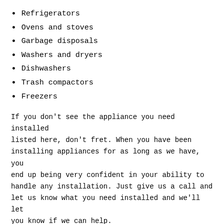Refrigerators
Ovens and stoves
Garbage disposals
Washers and dryers
Dishwashers
Trash compactors
Freezers
If you don’t see the appliance you need installed listed here, don’t fret. When you have been installing appliances for as long as we have, you end up being very confident in your ability to handle any installation. Just give us a call and let us know what you need installed and we’ll let you know if we can help.
Why T & V Electrical Service Inc. Should